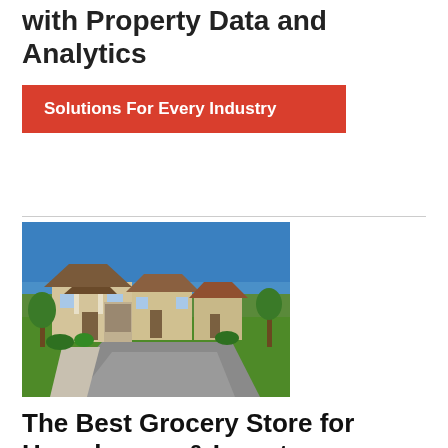with Property Data and Analytics
Solutions For Every Industry
[Figure (photo): Suburban residential street with large single-family homes, green lawns, clear blue sky, and a curved road in the foreground.]
The Best Grocery Store for Homebuyers & Investors